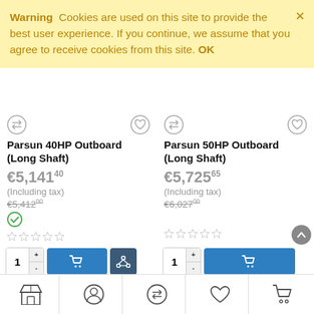Warning  Cookies are used on this site to provide the best user experience. If you continue, we assume that you agree to receive cookies from this site. OK
Parsun 40HP Outboard (Long Shaft)
€5,141.40 (Including tax) €5,412.00
Parsun 50HP Outboard (Long Shaft)
€5,725.65 (Including tax) €6,027.00
Store | Profile | Compare | Wishlist | Cart